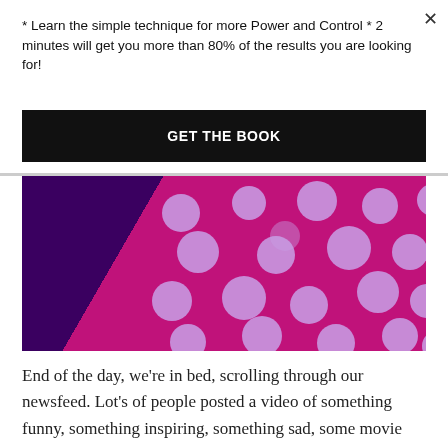× (close button)
* Learn the simple technique for more Power and Control * 2 minutes will get you more than 80% of the results you are looking for!
GET THE BOOK
[Figure (photo): Close-up photo of a pink/magenta fabric with white polka dots against a dark purple/black background, lit with purple-tinted lighting]
End of the day, we're in bed, scrolling through our newsfeed. Lot's of people posted a video of something funny, something inspiring, something sad, some movie trailer, some reaction to a movie trailer. Let's just say we went to bed at 8pm, and we finally put our